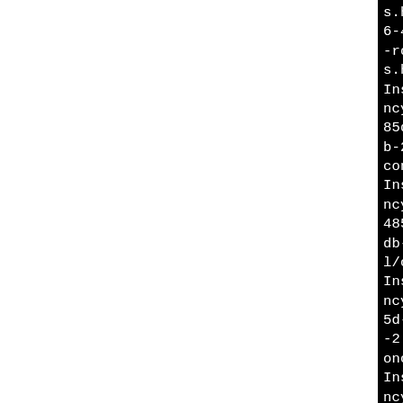Install file: "src/mongo/util/concurrency/list.h" as "/tmp/B.dd852db4-a6-493f936df352/BUILD/tmp/mongodb-2.2.4-root-builder/usr/include/mongo/util/concurrency/list.h"
Install file: "src/mongo/util/concurrency/mapsf.h" as "/tmp/B.dd852db4-485d-8af6-493f936df352/BUILD/tmp/mongodb-2.2.4-root-builder/usr/include/mongo/util/concurrency/mapsf.h"
Install file: "src/mongo/util/concurrency/msg.h" as "/tmp/B.dd852db4-5d-8af6-493f936df352/BUILD/tmp/mongodb-2.2.4-root-builder/usr/include/mongo/util/concurrency/msg.h"
Install file: "src/mongo/util/concurrency/mutex.h" as "/tmp/B.dd852db4-485d-8af6-493f936df352/BUILD/tmp/mongodb-2.2.4-root-builder/usr/include/mongo/util/concurrency/mutex.h"